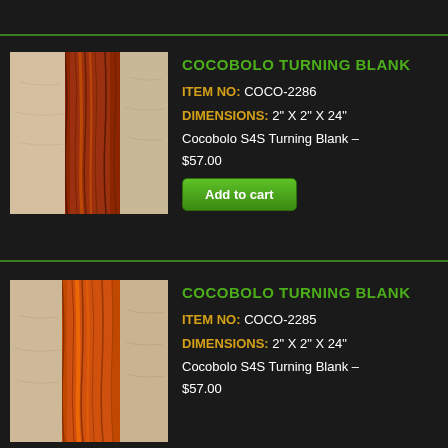[Figure (photo): Close-up of Cocobolo wood turning blank showing rich red-brown grain patterns, item COCO-2286]
COCOBOLO TURNING BLANK
ITEM NO: COCO-2286
DIMENSIONS: 2" X 2" X 24"
Cocobolo S4S Turning Blank –
$57.00
[Figure (photo): Close-up of Cocobolo wood turning blank showing orange-brown grain patterns, item COCO-2285]
COCOBOLO TURNING BLANK
ITEM NO: COCO-2285
DIMENSIONS: 2" X 2" X 24"
Cocobolo S4S Turning Blank –
$57.00